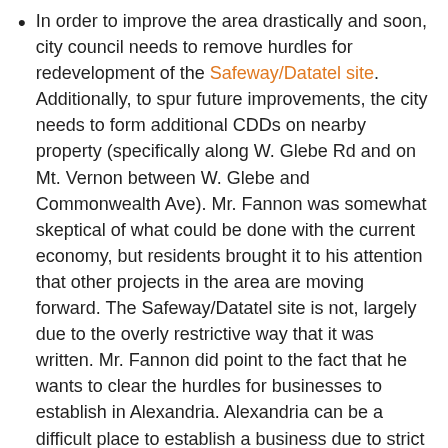In order to improve the area drastically and soon, city council needs to remove hurdles for redevelopment of the Safeway/Datatel site. Additionally, to spur future improvements, the city needs to form additional CDDs on nearby property (specifically along W. Glebe Rd and on Mt. Vernon between W. Glebe and Commonwealth Ave). Mr. Fannon was somewhat skeptical of what could be done with the current economy, but residents brought it to his attention that other projects in the area are moving forward. The Safeway/Datatel site is not, largely due to the overly restrictive way that it was written. Mr. Fannon did point to the fact that he wants to clear the hurdles for businesses to establish in Alexandria. Alexandria can be a difficult place to establish a business due to strict regulations.
Other issues raised were support for local police and code enforcement efforts and reducing the ratio of below market value to market value...